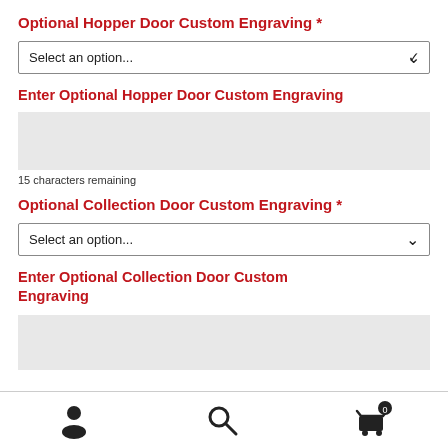Optional Hopper Door Custom Engraving *
Select an option...
Enter Optional Hopper Door Custom Engraving
15 characters remaining
Optional Collection Door Custom Engraving *
Select an option...
Enter Optional Collection Door Custom Engraving